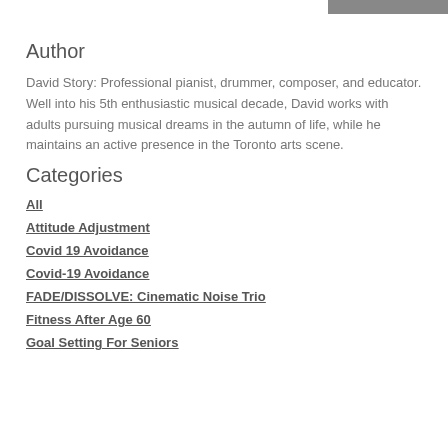Author
David Story: Professional pianist, drummer, composer, and educator. Well into his 5th enthusiastic musical decade, David works with adults pursuing musical dreams in the autumn of life, while he maintains an active presence in the Toronto arts scene.
Categories
All
Attitude Adjustment
Covid 19 Avoidance
Covid-19 Avoidance
FADE/DISSOLVE: Cinematic Noise Trio
Fitness After Age 60
Goal Setting For Seniors